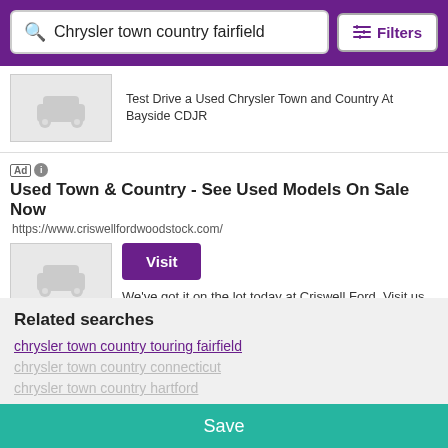Chrysler town country fairfield
Filters
Test Drive a Used Chrysler Town and Country At Bayside CDJR
Ad  Used Town & Country - See Used Models On Sale Now
https://www.criswellfordwoodstock.com/
Visit
We've got it on the lot today at Criswell Ford. Visit us online.
4 cars found
1
Related searches
chrysler town country touring fairfield
chrysler town country connecticut
chrysler town country hartford
Save